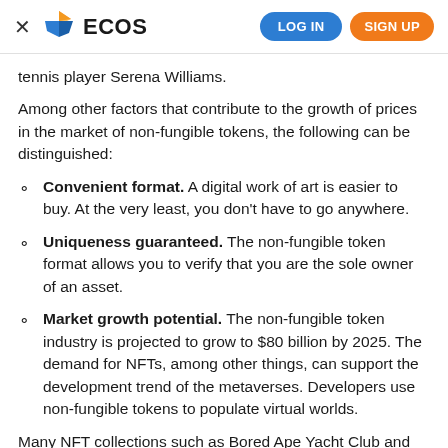× ECOS   LOG IN   SIGN UP
tennis player Serena Williams.
Among other factors that contribute to the growth of prices in the market of non-fungible tokens, the following can be distinguished:
Convenient format. A digital work of art is easier to buy. At the very least, you don't have to go anywhere.
Uniqueness guaranteed. The non-fungible token format allows you to verify that you are the sole owner of an asset.
Market growth potential. The non-fungible token industry is projected to grow to $80 billion by 2025. The demand for NFTs, among other things, can support the development trend of the metaverses. Developers use non-fungible tokens to populate virtual worlds.
Many NFT collections such as Bored Ape Yacht Club and CryptoPunks have become iconic. Their developers proved to